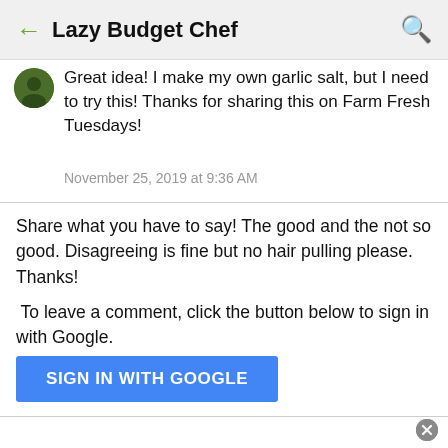Lazy Budget Chef
Great idea! I make my own garlic salt, but I need to try this! Thanks for sharing this on Farm Fresh Tuesdays!
November 25, 2019 at 9:36 AM
Share what you have to say! The good and the not so good. Disagreeing is fine but no hair pulling please. Thanks!
To leave a comment, click the button below to sign in with Google.
SIGN IN WITH GOOGLE